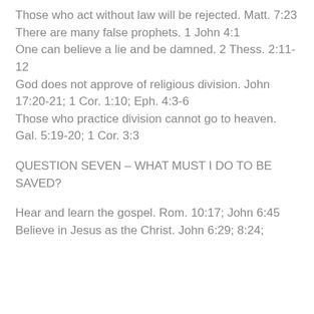Those who act without law will be rejected. Matt. 7:23
There are many false prophets. 1 John 4:1
One can believe a lie and be damned. 2 Thess. 2:11-12
God does not approve of religious division. John 17:20-21; 1 Cor. 1:10; Eph. 4:3-6
Those who practice division cannot go to heaven. Gal. 5:19-20; 1 Cor. 3:3
QUESTION SEVEN – WHAT MUST I DO TO BE SAVED?
Hear and learn the gospel. Rom. 10:17; John 6:45
Believe in Jesus as the Christ. John 6:29; 8:24;